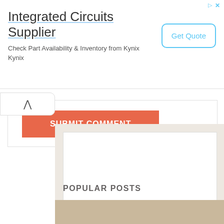[Figure (screenshot): Advertisement banner for Integrated Circuits Supplier - Kynix. Shows title, subtitle text about checking part availability, and a Get Quote button with ad icons.]
SUBMIT COMMENT
[Figure (screenshot): Sidebar with beige/cream background containing a white rectangular ad placeholder box.]
POPULAR POSTS
[Figure (photo): Partial image strip at bottom showing a tan/beige textured surface.]